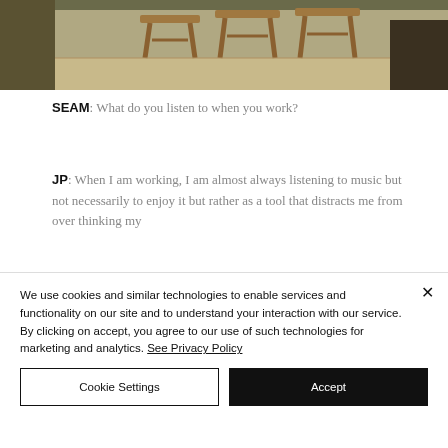[Figure (photo): Photo of wooden bar stools in a room with beige/tan walls and floor]
SEAM: What do you listen to when you work?
JP: When I am working, I am almost always listening to music but not necessarily to enjoy it but rather as a tool that distracts me from over thinking my
We use cookies and similar technologies to enable services and functionality on our site and to understand your interaction with our service. By clicking on accept, you agree to our use of such technologies for marketing and analytics. See Privacy Policy
Cookie Settings
Accept